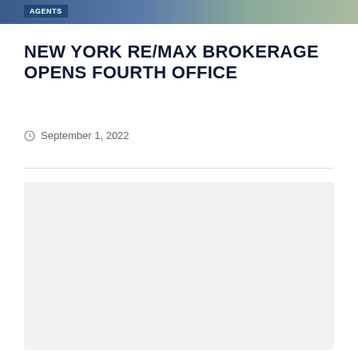[Figure (photo): Top banner image with dark blue and green-gray tones, partially visible landscape or outdoor photo]
AGENTS
NEW YORK RE/MAX BROKERAGE OPENS FOURTH OFFICE
September 1, 2022
[Figure (other): Light gray placeholder content box]